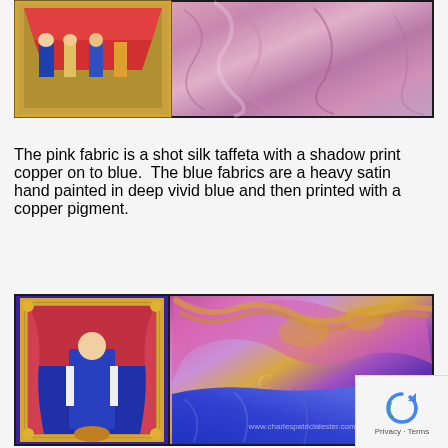[Figure (photo): Two side-by-side photos: left shows a medieval illuminated manuscript scene with figures under a canopy in blue and gold; right shows pink/purple shot silk taffeta fabric draped and folded.]
The pink fabric is a shot silk taffeta with a shadow print copper on to blue.  The blue fabrics are a heavy satin hand painted in deep vivid blue and then printed with a copper pigment.
[Figure (photo): Two side-by-side photos with black border: left shows an illuminated manuscript image of a robed figure in blue standing before an ornate gold frame with red drapery; right shows richly coloured fabrics in purple, pink, gold brocade, and blue satin draped together with a watermark 'www.charlespatricialester.com'.]